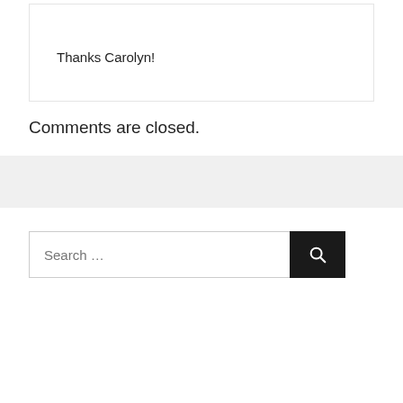Thanks Carolyn!
Comments are closed.
Search ...